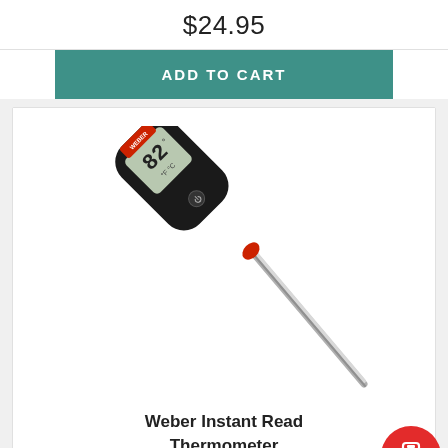$24.95
ADD TO CART
[Figure (photo): Weber Instant Read Thermometer product photo — black digital thermometer with LCD display showing '82' and a long stainless steel probe with red collar]
Weber Instant Read Thermometer